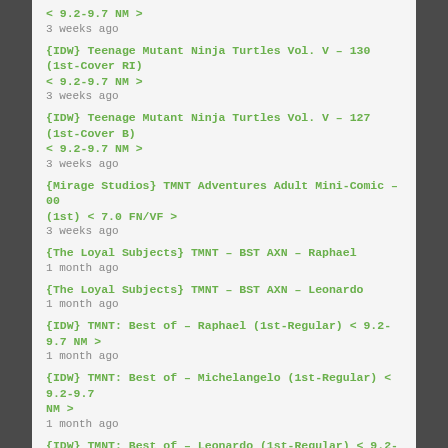< 9.2-9.7 NM >
3 weeks ago
{IDW} Teenage Mutant Ninja Turtles Vol. V – 130 (1st-Cover RI) < 9.2-9.7 NM >
3 weeks ago
{IDW} Teenage Mutant Ninja Turtles Vol. V – 127 (1st-Cover B) < 9.2-9.7 NM >
3 weeks ago
{Mirage Studios} TMNT Adventures Adult Mini-Comic – 00 (1st) < 7.0 FN/VF >
3 weeks ago
{The Loyal Subjects} TMNT – BST AXN – Raphael
1 month ago
{The Loyal Subjects} TMNT – BST AXN – Leonardo
1 month ago
{IDW} TMNT: Best of – Raphael (1st-Regular) < 9.2-9.7 NM >
1 month ago
{IDW} TMNT: Best of – Michelangelo (1st-Regular) < 9.2-9.7 NM >
1 month ago
{IDW} TMNT: Best of – Leonardo (1st-Regular) < 9.2-9.7 NM >